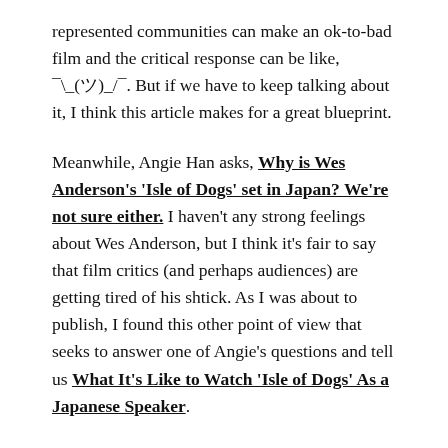represented communities can make an ok-to-bad film and the critical response can be like, ¯\_(ツ)_/¯. But if we have to keep talking about it, I think this article makes for a great blueprint.
Meanwhile, Angie Han asks, Why is Wes Anderson's 'Isle of Dogs' set in Japan? We're not sure either. I haven't any strong feelings about Wes Anderson, but I think it's fair to say that film critics (and perhaps audiences) are getting tired of his shtick. As I was about to publish, I found this other point of view that seeks to answer one of Angie's questions and tell us What It's Like to Watch 'Isle of Dogs' As a Japanese Speaker.
(P.S. I've seen neither A Wrinkle in Time nor Isle of